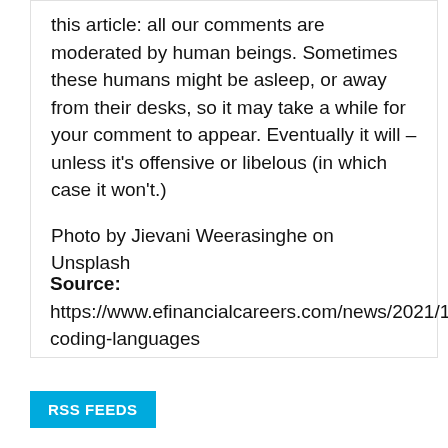this article: all our comments are moderated by human beings. Sometimes these humans might be asleep, or away from their desks, so it may take a while for your comment to appear. Eventually it will – unless it's offensive or libelous (in which case it won't.)
Photo by Jievani Weerasinghe on Unsplash
Source: https://www.efinancialcareers.com/news/2021/12/crypto-coding-languages
RSS FEEDS